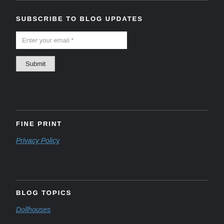SUBSCRIBE TO BLOG UPDATES
Enter your email *
Submit
FINE PRINT
Privacy Policy
BLOG TOPICS
Dollhouses